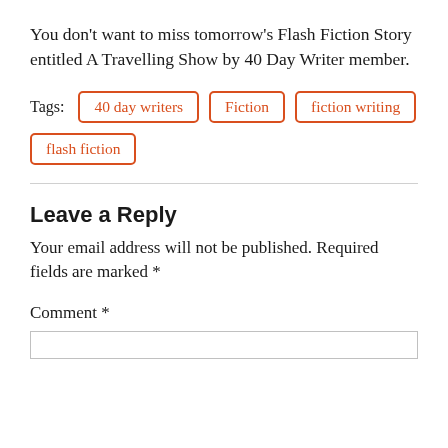You don’t want to miss tomorrow’s Flash Fiction Story entitled A Travelling Show by 40 Day Writer member.
Tags: 40 day writers  Fiction  fiction writing  flash fiction
Leave a Reply
Your email address will not be published. Required fields are marked *
Comment *